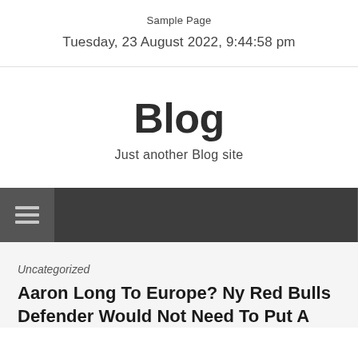Sample Page
Tuesday, 23 August 2022, 9:44:58 pm
Blog
Just another Blog site
≡
Uncategorized
Aaron Long To Europe? Ny Red Bulls Defender Would Not Need To Put A